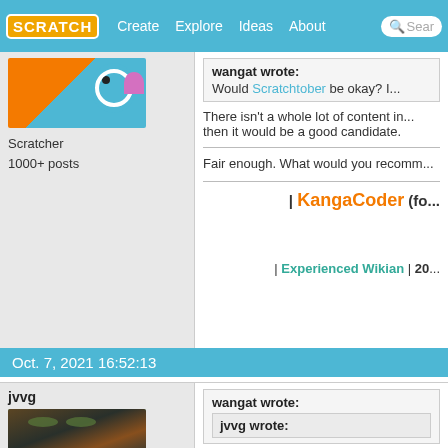SCRATCH | Create | Explore | Ideas | About | Search
[Figure (screenshot): Scratch avatar with blue bird and orange background]
Scratcher
1000+ posts
wangat wrote:
Would Scratchtober be okay? ...
There isn't a whole lot of content in... then it would be a good candidate.
Fair enough. What would you recomm...
| KangaCoder (fo...
| Experienced Wikian | 20...
Oct. 7, 2021 16:52:13
jvvg
[Figure (photo): Photo of a cat (tortoiseshell/calico)]
wangat wrote:
jvvg wrote: